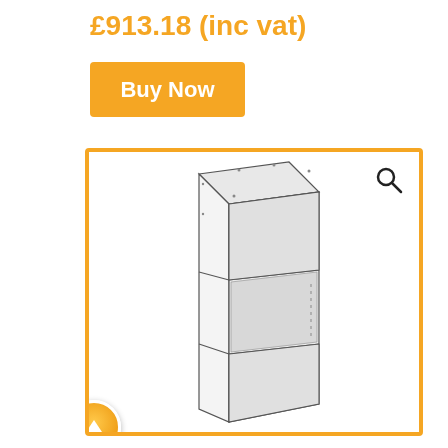£913.18 (inc vat)
Buy Now
[Figure (illustration): Technical line drawing of a tall narrow cabinet unit shown in isometric perspective, with an open compartment in the middle section and a smaller compartment at the bottom. Cabinet has dotted lines indicating internal shelf positions. Shown against white background inside an orange-bordered frame with a magnify/zoom icon in the top-right corner and an up-arrow navigation button in the bottom-left corner.]